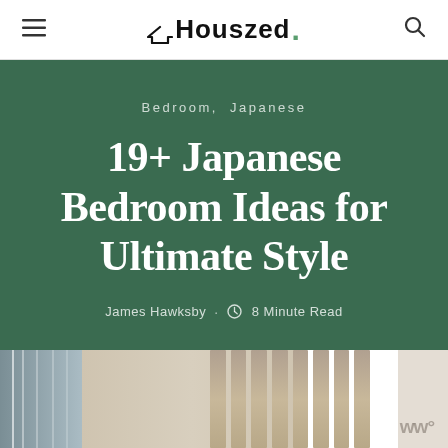Houszed.
Bedroom, Japanese
19+ Japanese Bedroom Ideas for Ultimate Style
James Hawksby · 🕐 8 Minute Read
[Figure (photo): Partial view of a Japanese-style bedroom with wooden slat wall panels and neutral tones]